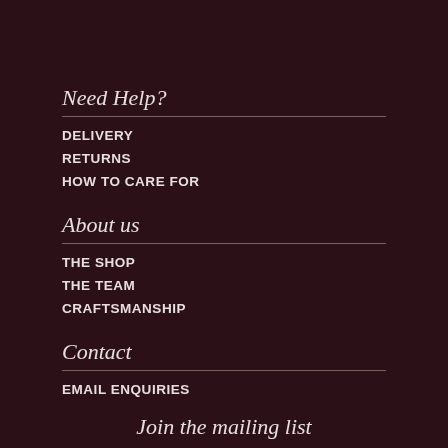Need Help?
DELIVERY
RETURNS
HOW TO CARE FOR
About us
THE SHOP
THE TEAM
CRAFTSMANSHIP
Contact
EMAIL ENQUIRIES
Join the mailing list